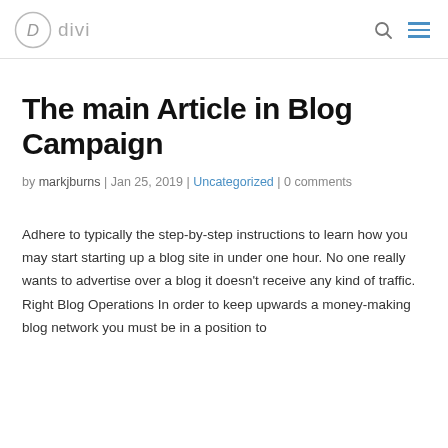divi
The main Article in Blog Campaign
by markjburns | Jan 25, 2019 | Uncategorized | 0 comments
Adhere to typically the step-by-step instructions to learn how you may start starting up a blog site in under one hour. No one really wants to advertise over a blog it doesn't receive any kind of traffic. Right Blog Operations In order to keep upwards a money-making blog network you must be in a position to